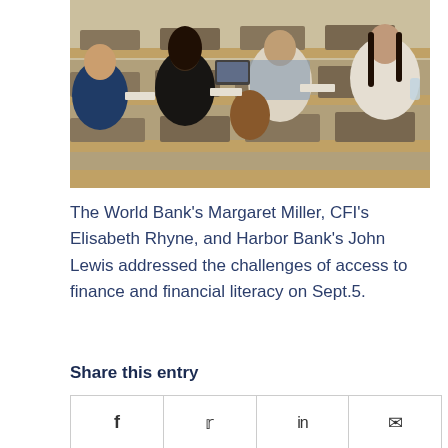[Figure (photo): People seated in rows at a conference or lecture hall setting, viewed from behind. They sit at wooden desks with name placards. The image shows a diverse group of attendees.]
The World Bank's Margaret Miller, CFI's Elisabeth Rhyne, and Harbor Bank's John Lewis addressed the challenges of access to finance and financial literacy on Sept.5.
Share this entry